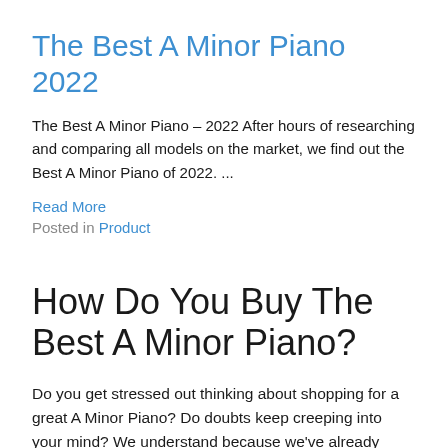The Best A Minor Piano 2022
The Best A Minor Piano – 2022 After hours of researching and comparing all models on the market, we find out the Best A Minor Piano of 2022. ...
Read More
Posted in Product
How Do You Buy The Best A Minor Piano?
Do you get stressed out thinking about shopping for a great A Minor Piano? Do doubts keep creeping into your mind? We understand because we've already gone through the